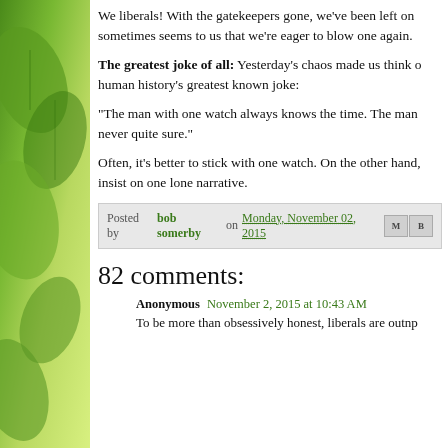We liberals! With the gatekeepers gone, we've been left on ourselves. Sometimes seems to us that we're eager to blow one again.
The greatest joke of all: Yesterday's chaos made us think of human history's greatest known joke:
"The man with one watch always knows the time. The man never quite sure."
Often, it's better to stick with one watch. On the other hand, insist on one lone narrative.
Posted by bob somerby on Monday, November 02, 2015
82 comments:
Anonymous November 2, 2015 at 10:43 AM
To be more than obsessively honest, liberals are outnumbered...